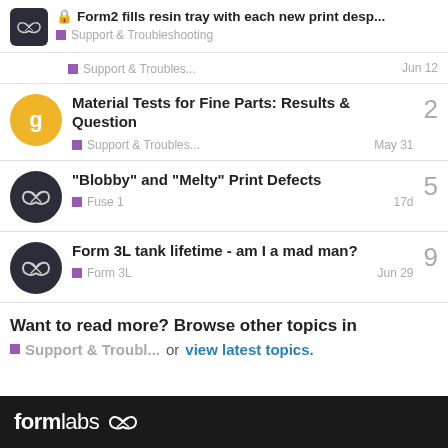Form2 fills resin tray with each new print desp... | Support & Troubleshooting
Support & Troubles... | Jun 12
Material Tests for Fine Parts: Results & Question | Support & Troubles... | May 31 | 2 replies
"Blobby" and "Melty" Print Defects | Fuse 1 | 17d | 5 replies
Form 3L tank lifetime - am I a mad man? | Form 3L | Jun 29 | 9 replies
Want to read more? Browse other topics in
Support & Troubl... or view latest topics.
formlabs